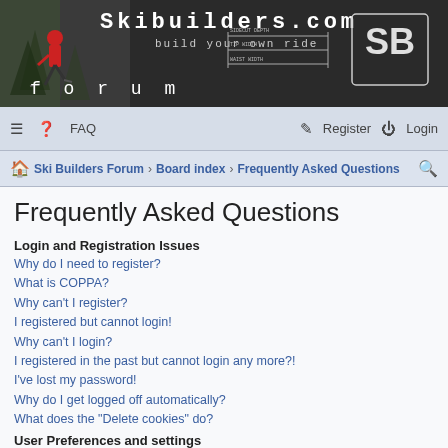[Figure (screenshot): Skibuilders.com forum banner with skier photo, site title, tagline 'build your own ride', logo, and ski diagram]
≡  FAQ    Register   Login
Ski Builders Forum › Board index › Frequently Asked Questions
Frequently Asked Questions
Login and Registration Issues
Why do I need to register?
What is COPPA?
Why can't I register?
I registered but cannot login!
Why can't I login?
I registered in the past but cannot login any more?!
I've lost my password!
Why do I get logged off automatically?
What does the "Delete cookies" do?
This website uses cookies to ensure you get the best experience on our website.  Learn more
User Preferences and settings
How do I change my settings?
How do I prevent my username appearing in the online user listings?